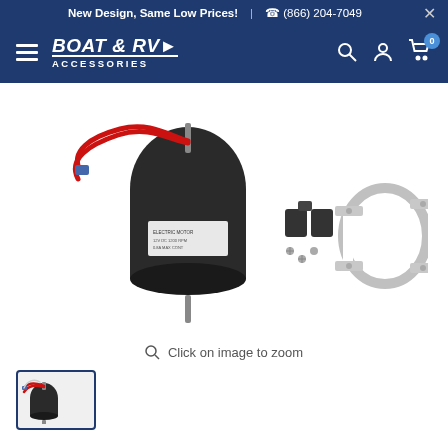New Design, Same Low Prices! | ☎ (866) 204-7049
[Figure (logo): Boat & RV Accessories logo in white text on dark blue background]
[Figure (photo): Electric blower motor kit with red wires, black cylindrical motor body, mounting hardware, and metal clamp bracket]
Click on image to zoom
[Figure (photo): Small thumbnail image of the motor kit product]